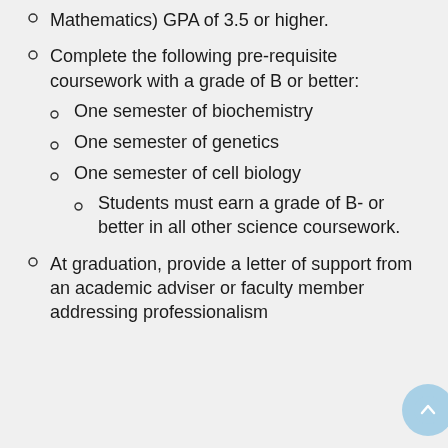Mathematics) GPA of 3.5 or higher.
Complete the following pre-requisite coursework with a grade of B or better:
One semester of biochemistry
One semester of genetics
One semester of cell biology
Students must earn a grade of B- or better in all other science coursework.
At graduation, provide a letter of support from an academic adviser or faculty member addressing professionalism